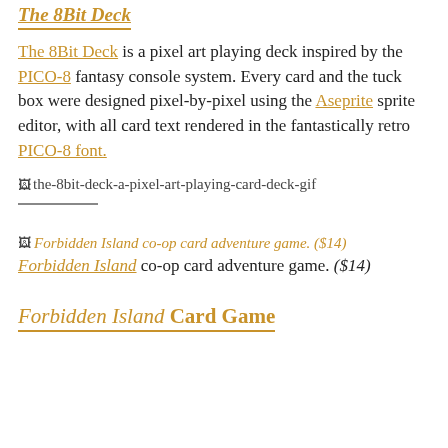The 8Bit Deck
The 8Bit Deck is a pixel art playing deck inspired by the PICO-8 fantasy console system. Every card and the tuck box were designed pixel-by-pixel using the Aseprite sprite editor, with all card text rendered in the fantastically retro PICO-8 font.
[Figure (photo): Broken image placeholder: the-8bit-deck-a-pixel-art-playing-card-deck-gif]
[Figure (photo): Broken image placeholder: Forbidden Island co-op card adventure game. ($14)]
Forbidden Island co-op card adventure game. ($14)
Forbidden Island Card Game